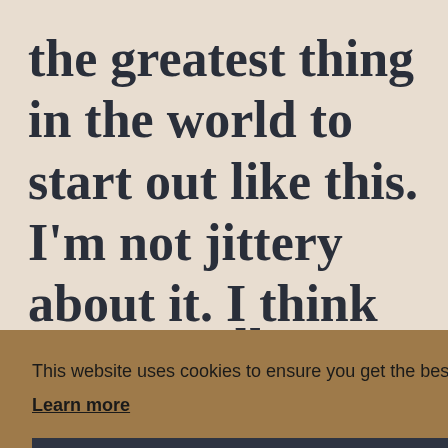the greatest thing in the world to start out like this. I'm not jittery about it. I think these guys can play a little bit and we'll
This website uses cookies to ensure you get the best experience on our website. Learn more Got it!
We actually scored six runs